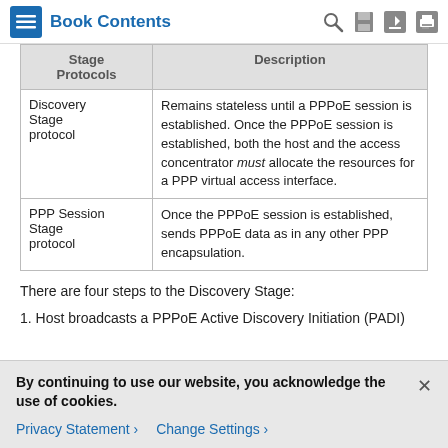Book Contents
| Stage Protocols | Description |
| --- | --- |
| Discovery Stage protocol | Remains stateless until a PPPoE session is established. Once the PPPoE session is established, both the host and the access concentrator must allocate the resources for a PPP virtual access interface. |
| PPP Session Stage protocol | Once the PPPoE session is established, sends PPPoE data as in any other PPP encapsulation. |
There are four steps to the Discovery Stage:
1. Host broadcasts a PPPoE Active Discovery Initiation (PADI)
By continuing to use our website, you acknowledge the use of cookies.
Privacy Statement > Change Settings >